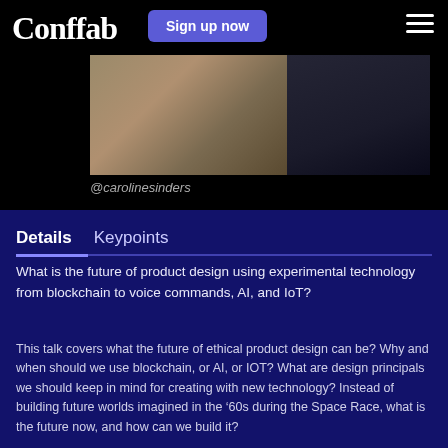Conffab
Sign up now
[Figure (photo): Conference or event photo showing two panels: left panel with a warm-toned image and right panel with a dark image, partially visible behind the Conffab header]
@carolinesinders
Details   Keypoints
What is the future of product design using experimental technology from blockchain to voice commands, AI, and IoT?
This talk covers what the future of ethical product design can be? Why and when should we use blockchain, or AI, or IOT? What are design principals we should keep in mind for creating with new technology? Instead of building future worlds imagined in the ’60s during the Space Race, what is the future now, and how can we build it?